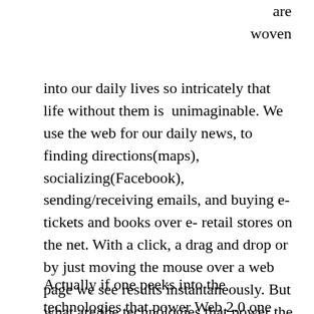are woven into our daily lives so intricately that life without them is unimaginable. We use the web for our daily news, to finding directions(maps), socializing(Facebook), sending/receiving emails, and buying e-tickets and books over e-retail stores on the net. With a click, a drag and drop or by just moving the mouse over a web page we see results instantaneously. But what are the technologies that power the Web outside of the routers and hubs of the data communication world?

Actually if one peeks into the technologies that power Web 2.0 one would be amazed at the